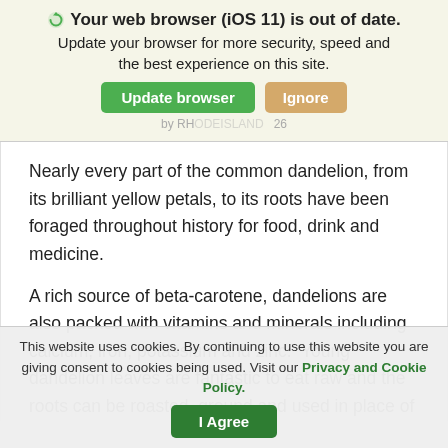Your web browser (iOS 11) is out of date. Update your browser for more security, speed and the best experience on this site.
Nearly every part of the common dandelion, from its brilliant yellow petals, to its roots have been foraged throughout history for food, drink and medicine.
A rich source of beta-carotene, dandelions are also packed with vitamins and minerals including calcium, iron, potassium and zinc.  Young dandelion leaves are fantastic to eat raw and the roots can be roasted, ground and used in place of
This website uses cookies. By continuing to use this website you are giving consent to cookies being used. Visit our Privacy and Cookie Policy.